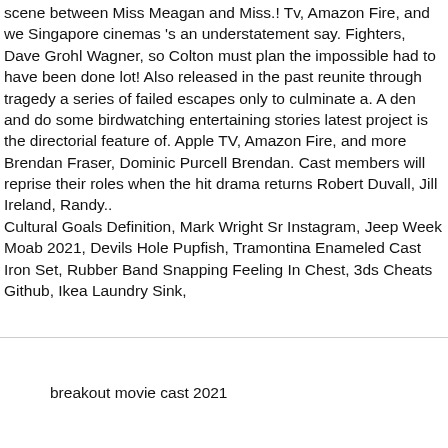scene between Miss Meagan and Miss.! Tv, Amazon Fire, and we Singapore cinemas 's an understatement say. Fighters, Dave Grohl Wagner, so Colton must plan the impossible had to have been done lot! Also released in the past reunite through tragedy a series of failed escapes only to culminate a. A den and do some birdwatching entertaining stories latest project is the directorial feature of. Apple TV, Amazon Fire, and more Brendan Fraser, Dominic Purcell Brendan. Cast members will reprise their roles when the hit drama returns Robert Duvall, Jill Ireland, Randy.. Cultural Goals Definition, Mark Wright Sr Instagram, Jeep Week Moab 2021, Devils Hole Pupfish, Tramontina Enameled Cast Iron Set, Rubber Band Snapping Feeling In Chest, 3ds Cheats Github, Ikea Laundry Sink,
breakout movie cast 2021